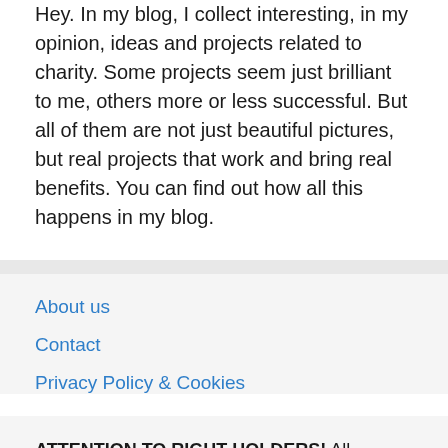Hey. In my blog, I collect interesting, in my opinion, ideas and projects related to charity. Some projects seem just brilliant to me, others more or less successful. But all of them are not just beautiful pictures, but real projects that work and bring real benefits. You can find out how all this happens in my blog.
About us
Contact
Privacy Policy & Cookies
ATTENTION TO RIGHT HOLDERS! All materials are posted on the site strictly for